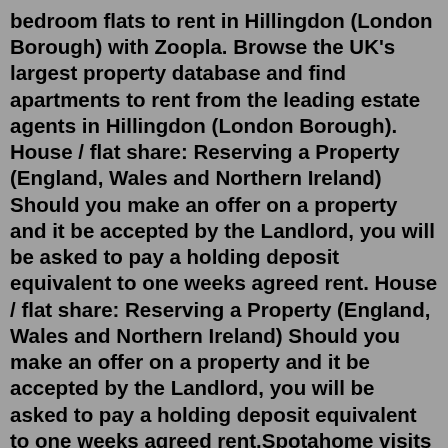bedroom flats to rent in Hillingdon (London Borough) with Zoopla. Browse the UK's largest property database and find apartments to rent from the leading estate agents in Hillingdon (London Borough). House / flat share: Reserving a Property (England, Wales and Northern Ireland) Should you make an offer on a property and it be accepted by the Landlord, you will be asked to pay a holding deposit equivalent to one weeks agreed rent. House / flat share: Reserving a Property (England, Wales and Northern Ireland) Should you make an offer on a property and it be accepted by the Landlord, you will be asked to pay a holding deposit equivalent to one weeks agreed rent.Spotahome visits and verifies the best apartments for rent in London for you. ❶ Watch the video & book your next 1-bedroom apartment in London online! 1 bedroom flat for rent. This one bedroom first floor maisonette is available now and has just been re decorated throughout. The property is a fantastic size for a one bedroom and benefits from a great amount of front and light... Hillingdon, Harith...